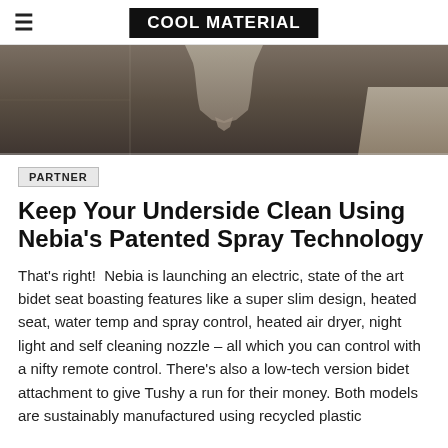COOL MATERIAL
[Figure (photo): Top-down view of what appears to be a bidet seat or toilet fixture on a dark grey tiled surface, with a light beige/tan object partially visible at the right edge.]
PARTNER
Keep Your Underside Clean Using Nebia's Patented Spray Technology
That's right!  Nebia is launching an electric, state of the art bidet seat boasting features like a super slim design, heated seat, water temp and spray control, heated air dryer, night light and self cleaning nozzle – all which you can control with a nifty remote control. There's also a low-tech version bidet attachment to give Tushy a run for their money. Both models are sustainably manufactured using recycled plastic